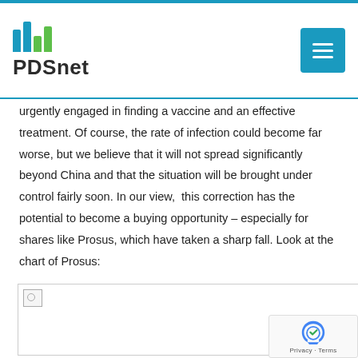PDSnet
urgently engaged in finding a vaccine and an effective treatment. Of course, the rate of infection could become far worse, but we believe that it will not spread significantly beyond China and that the situation will be brought under control fairly soon. In our view, this correction has the potential to become a buying opportunity – especially for shares like Prosus, which have taken a sharp fall. Look at the chart of Prosus:
[Figure (other): Broken image placeholder for a chart of Prosus share price]